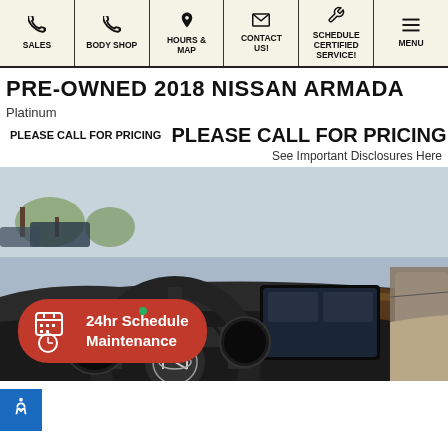SALES | BODY SHOP | HOURS & MAP | CONTACT US! | SCHEDULE CERTIFIED SERVICE! | MENU
PRE-OWNED 2018 NISSAN ARMADA
Platinum
PLEASE CALL FOR PRICING  PLEASE CALL FOR PRICING
See Important Disclosures Here
[Figure (photo): Interior view of 2018 Nissan Armada showing steering wheel with Nissan logo, dashboard, and infotainment screen]
24hr Schedule Maintenance